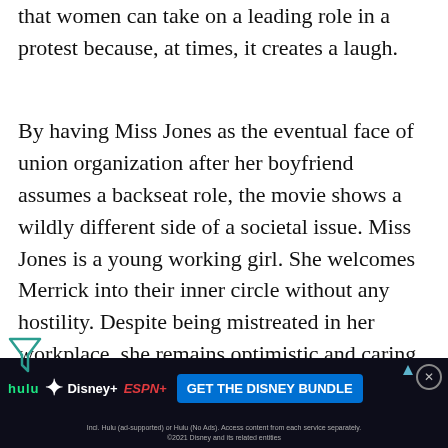that women can take on a leading role in a protest because, at times, it creates a laugh.
By having Miss Jones as the eventual face of union organization after her boyfriend assumes a backseat role, the movie shows a wildly different side of a societal issue. Miss Jones is a young working girl. She welcomes Merrick into their inner circle without any hostility. Despite being mistreated in her workplace, she remains optimistic and caring. Her work is for the benefit of others, not for herself. Miss Jones is there to convince Merrick, and the audience, that workers dema...
[Figure (other): Advertisement banner: GET THE DISNEY BUNDLE — Hulu, Disney+, ESPN+. Includes fine print about ad-supported tiers and service access.]